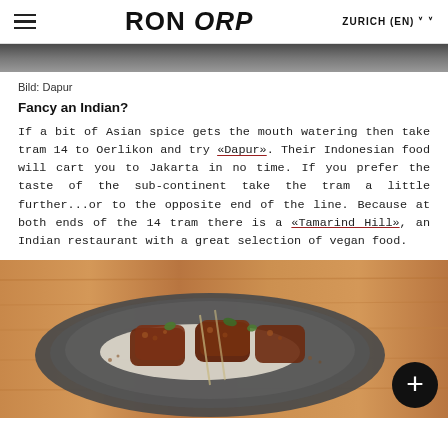RON ORP  ZURICH (EN)
[Figure (photo): Top cropped photo strip showing a dark background]
Bild: Dapur
Fancy an Indian?
If a bit of Asian spice gets the mouth watering then take tram 14 to Oerlikon and try «Dapur». Their Indonesian food will cart you to Jakarta in no time. If you prefer the taste of the sub-continent take the tram a little further...or to the opposite end of the line. Because at both ends of the 14 tram there is a «Tamarind Hill», an Indian restaurant with a great selection of vegan food.
[Figure (photo): Photo of an Indonesian/Indian food dish served on a dark ceramic plate on a wooden table — breaded or spiced meat pieces with herbs and sauce, presented as a restaurant dish.]